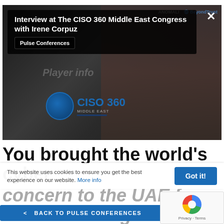[Figure (screenshot): Video thumbnail for interview at The CISO 360 Middle East Congress with Irene Corpuz. Shows two people at a conference with CISO 360 Middle East branding banner. Overlay shows video title box and Pulse Conferences badge.]
You brought the world's cyber concern to the UAE for a and also brought world experts to provide advice based on their o experience.
This website uses cookies to ensure you get the best experience on our website. More info
Got it!
< BACK TO PULSE CONFERENCES